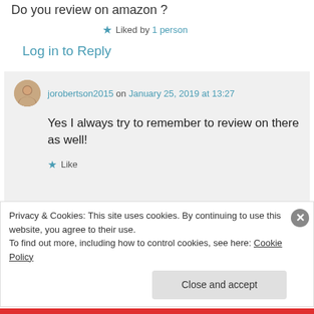Do you review on amazon ?
★ Liked by 1 person
Log in to Reply
jorobertson2015 on January 25, 2019 at 13:27
Yes I always try to remember to review on there as well!
★ Like
Privacy & Cookies: This site uses cookies. By continuing to use this website, you agree to their use.
To find out more, including how to control cookies, see here: Cookie Policy
Close and accept